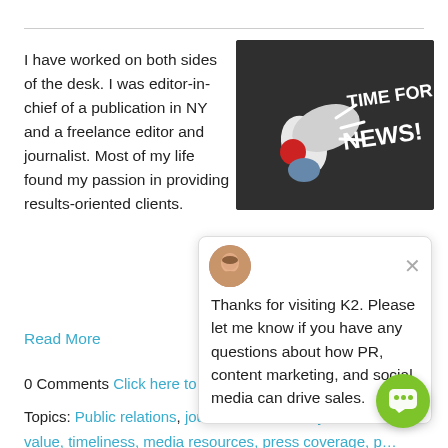I have worked on both sides of the desk. I was editor-in-chief of a publication in NY and a freelance editor and journalist. Most of my life found my passion in providing results-oriented clients.
[Figure (photo): Chalkboard with megaphone and text 'TIME FOR NEWS!']
[Figure (screenshot): Chat popup with avatar. Text: Thanks for visiting K2. Please let me know if you have any questions about how PR, content marketing, and social media can drive sales.]
Read More
0 Comments Click here to read/write comments
Topics: Public relations, journalist, news story, news value, timeliness, media resources, press coverage, press release, media coverage, media, brand